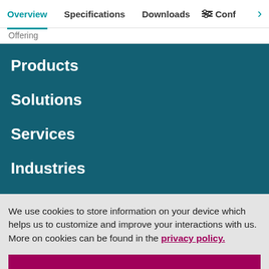Overview | Specifications | Downloads | Conf >
Offering
Products
Solutions
Services
Industries
We use cookies to store information on your device which helps us to customize and improve your interactions with us. More on cookies can be found in the privacy policy.
Accept and confirm all
Adapt settings